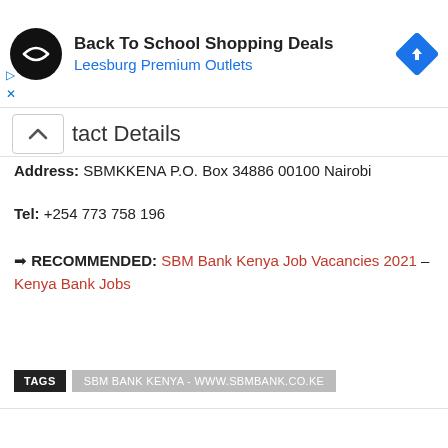[Figure (infographic): Advertisement banner for Back To School Shopping Deals at Leesburg Premium Outlets, showing a circular black logo with a diamond shapes symbol, bold title text, blue subtitle, and a blue diamond arrow navigation icon on the right.]
Contact Details
Address: SBMKKENA P.O. Box 34886 00100 Nairobi
Tel: +254 773 758 196
➡ RECOMMENDED: SBM Bank Kenya Job Vacancies 2021 – Kenya Bank Jobs
TAGS   SBM BANK KENYA - WWW.SBMBANK.CO.KE